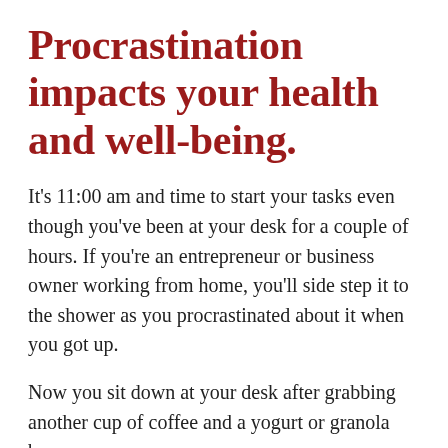Procrastination impacts your health and well-being.
It's 11:00 am and time to start your tasks even though you've been at your desk for a couple of hours. If you're an entrepreneur or business owner working from home, you'll side step it to the shower as you procrastinated about it when you got up.
Now you sit down at your desk after grabbing another cup of coffee and a yogurt or granola bar